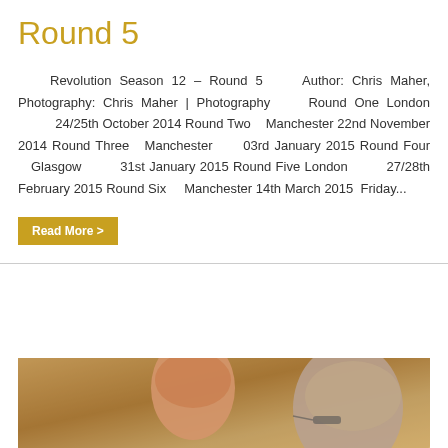Round 5
Revolution Season 12 – Round 5     Author: Chris Maher, Photography: Chris Maher | Photography     Round One     London          24/25th October 2014 Round Two    Manchester 22nd November 2014 Round Three   Manchester      03rd January 2015 Round Four    Glasgow         31st January 2015 Round Five London          27/28th February 2015 Round Six     Manchester 14th March 2015  Friday...
Read More >
[Figure (photo): Two men in conversation, one facing the camera and one seen from behind, in a warmly lit indoor setting]